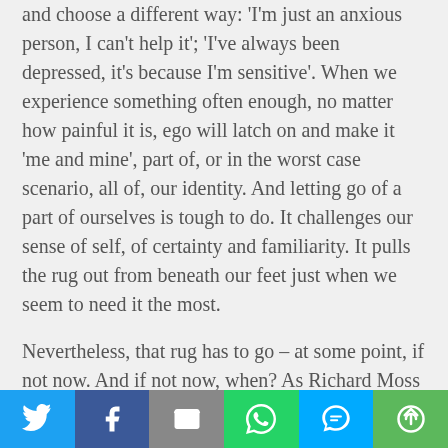and choose a different way: 'I'm just an anxious person, I can't help it'; 'I've always been depressed, it's because I'm sensitive'. When we experience something often enough, no matter how painful it is, ego will latch on and make it 'me and mine', part of, or in the worst case scenario, all of, our identity. And letting go of a part of ourselves is tough to do. It challenges our sense of self, of certainty and familiarity. It pulls the rug out from beneath our feet just when we seem to need it the most.

Nevertheless, that rug has to go – at some point, if not now. And if not now, when? As Richard Moss once very wisely said, if you knew you were going to die in the next minute, would you be willing to let go of that issue you've struggled with all your life? Many people
[Figure (infographic): Social share bar with six buttons: Twitter (blue bird icon), Facebook (dark blue f icon), Email (grey envelope icon), WhatsApp (green phone/chat icon), SMS (blue SMS bubble icon), More (green circular arrow icon)]